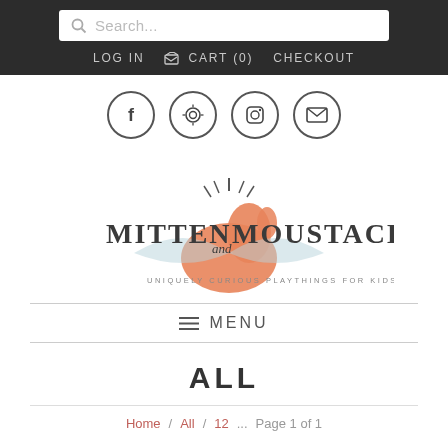Search... | LOG IN | CART (0) | CHECKOUT
[Figure (illustration): Social media icon circles: Facebook (f), Pinterest (P), Instagram (camera), Email (envelope)]
[Figure (logo): Mitten and Moustache logo — stylized text with orange mitten illustration and tagline 'Uniquely Curious Playthings for Kids']
≡ MENU
ALL
Home / All / 12 ... Page 1 of 1